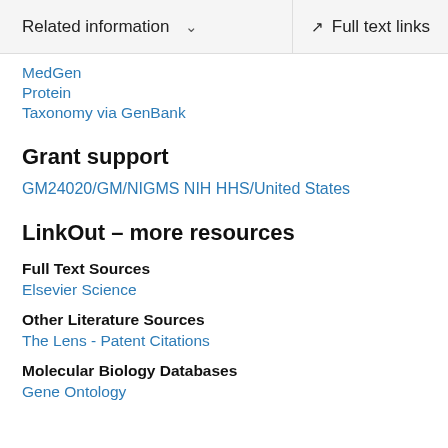Related information  ∨    Full text links
MedGen
Protein
Taxonomy via GenBank
Grant support
GM24020/GM/NIGMS NIH HHS/United States
LinkOut – more resources
Full Text Sources
Elsevier Science
Other Literature Sources
The Lens - Patent Citations
Molecular Biology Databases
Gene Ontology